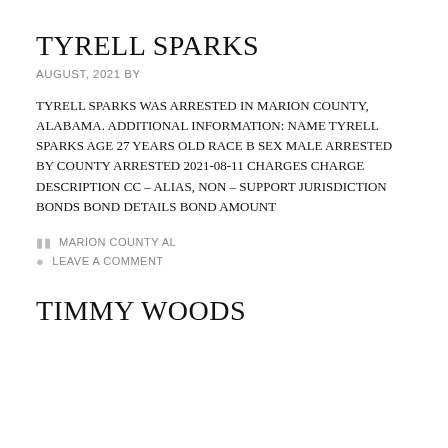TYRELL SPARKS
AUGUST, 2021 BY
TYRELL SPARKS WAS ARRESTED IN MARION COUNTY, ALABAMA. ADDITIONAL INFORMATION: NAME TYRELL SPARKS AGE 27 YEARS OLD RACE B SEX MALE ARRESTED BY COUNTY ARRESTED 2021-08-11 CHARGES CHARGE DESCRIPTION CC – ALIAS, NON – SUPPORT JURISDICTION BONDS BOND DETAILS BOND AMOUNT
MARION COUNTY AL
LEAVE A COMMENT
TIMMY WOODS